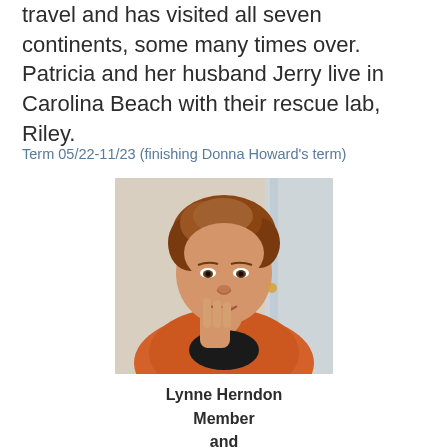travel and has visited all seven continents, some many times over. Patricia and her husband Jerry live in Carolina Beach with their rescue lab, Riley.
Term 05/22-11/23 (finishing Donna Howard's term)
[Figure (photo): Portrait photo of a woman with short curly reddish-brown hair, smiling, resting her chin on her hand, wearing an orange jacket, photographed indoors.]
Lynne Herndon
Member
and